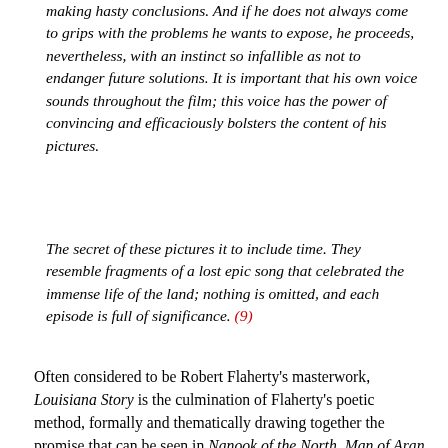making hasty conclusions. And if he does not always come to grips with the problems he wants to expose, he proceeds, nevertheless, with an instinct so infallible as not to endanger future solutions. It is important that his own voice sounds throughout the film; this voice has the power of convincing and efficaciously bolsters the content of his pictures.
The secret of these pictures it to include time. They resemble fragments of a lost epic song that celebrated the immense life of the land; nothing is omitted, and each episode is full of significance. (9)
Often considered to be Robert Flaherty's masterwork, Louisiana Story is the culmination of Flaherty's poetic method, formally and thematically drawing together the promise that can be seen in Nanook of the North, Man of Aran and The Land, with a mediation between modernity and regionalism. While The Land marks a shift from the pre- modern nostalgia of the early film to an engagement with modernity, Louisiana Story directly addresses the issue of the environmental impact of mechanisation upon the pristine environment of the bayous of Louisiana in a film sponsored by Standard Oil albeit with the